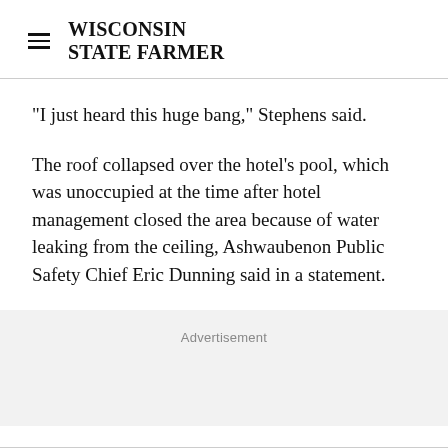WISCONSIN STATE FARMER
"I just heard this huge bang," Stephens said.
The roof collapsed over the hotel's pool, which was unoccupied at the time after hotel management closed the area because of water leaking from the ceiling, Ashwaubenon Public Safety Chief Eric Dunning said in a statement.
Advertisement